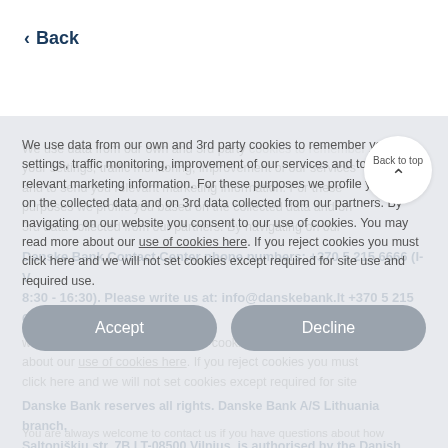< Back
We use data from our own and 3rd party cookies to remember your settings, traffic monitoring, improvement of our services and to send you relevant marketing information. For these purposes we profile you based on the collected data and on 3rd data collected from our partners. By navigating on our website you consent to our use of cookies. You may read more about our use of cookies here. If you reject cookies you must click here and we will not set cookies except required for site use and required use.
Danske Bank Contact Center phone numbers: +370 5 215 6666 (I-V 8:30 - 16:30). Please write us at: info@danskebank.lt +370 5 215 6666
Danske Bank reserves all rights. Danske Bank A/S Lithuania branch, Saltoniškių str. 7B LT-08500 Vilnius, is authorised by the Danish Financial Supervisory Authority. Read our privacy statement, terms of use and use of Cookies.
You are always welcome to contact us if you have questions about how